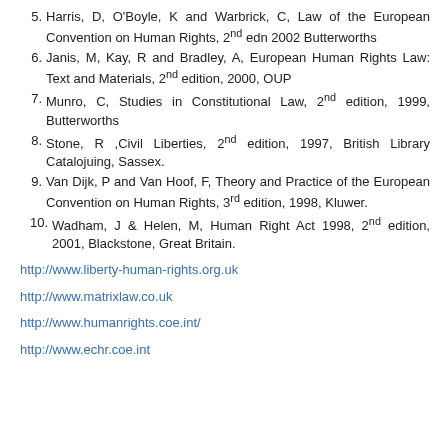5. Harris, D, O'Boyle, K and Warbrick, C, Law of the European Convention on Human Rights, 2nd edn 2002 Butterworths
6. Janis, M, Kay, R and Bradley, A, European Human Rights Law: Text and Materials, 2nd edition, 2000, OUP
7. Munro, C, Studies in Constitutional Law, 2nd edition, 1999, Butterworths
8. Stone, R ,Civil Liberties, 2nd edition, 1997, British Library Catalojuing, Sassex.
9. Van Dijk, P and Van Hoof, F, Theory and Practice of the European Convention on Human Rights, 3rd edition, 1998, Kluwer.
10. Wadham, J & Helen, M, Human Right Act 1998, 2nd edition, 2001, Blackstone, Great Britain.
http://www.liberty-human-rights.org.uk
http://www.matrixlaw.co.uk
http://www.humanrights.coe.int/
http://www.echr.coe.int